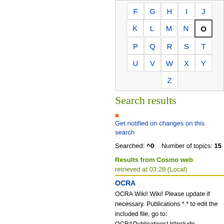[Figure (other): Alphabet navigation grid showing letters F through Z with O highlighted/selected]
Search results
Get notified on changes on this search
Searched: ^O   Number of topics: 15
Results from Cosmo web retrieved at 03:28 (Local)
OCRA
OCRA Wiki! Wiki! Please update if necessary. Publications * * to edit the included file, go to: OCRAPublicationsUrlInclude